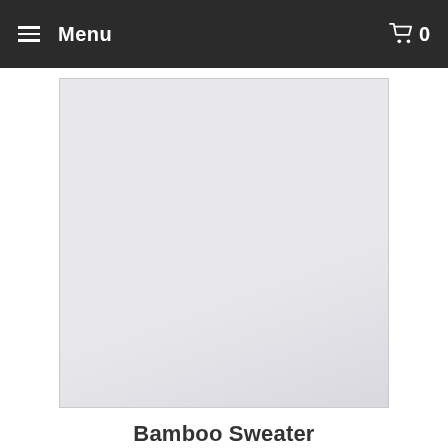Menu   0
$675.00
[Figure (photo): Product image placeholder — light grey/lavender square background, no product visible]
Bamboo Sweater
from $ 398.00